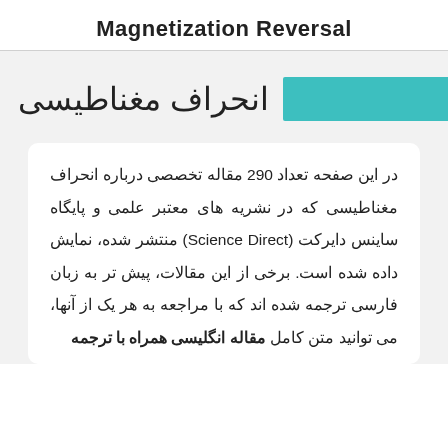Magnetization Reversal
انحراف مغناطیسی
در این صفحه تعداد 290 مقاله تخصصی درباره انحراف مغناطیسی که در نشریه های معتبر علمی و پایگاه ساینس دایرکت (Science Direct) منتشر شده، نمایش داده شده است. برخی از این مقالات، پیش تر به زبان فارسی ترجمه شده اند که با مراجعه به هر یک از آنها، می توانید متن کامل مقاله انگلیسی همراه با ترجمه